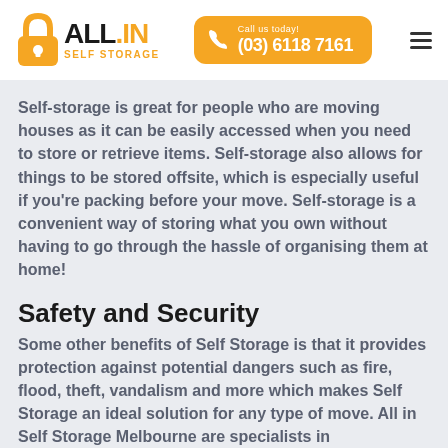ALL.IN SELF STORAGE | Call us today! (03) 6118 7161
Self-storage is great for people who are moving houses as it can be easily accessed when you need to store or retrieve items. Self-storage also allows for things to be stored offsite, which is especially useful if you're packing before your move. Self-storage is a convenient way of storing what you own without having to go through the hassle of organising them at home!
Safety and Security
Some other benefits of Self Storage is that it provides protection against potential dangers such as fire, flood, theft, vandalism and more which makes Self Storage an ideal solution for any type of move. All in Self Storage Melbourne are specialists in